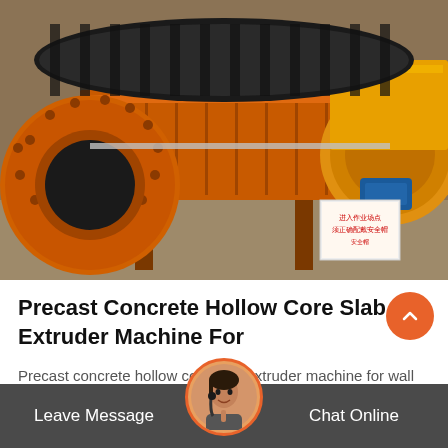[Figure (photo): Large orange industrial ball mill / rotary drum machinery with studded drum surface, yellow conveyor housing, and blue electric motor, with Chinese safety signage visible on the right side]
Precast Concrete Hollow Core Slab Extruder Machine For
Precast concrete hollow core slab extruder machine for wall panelind complete details about precast concrete hollow core slab extruder machine for wall panel,cast floor making…